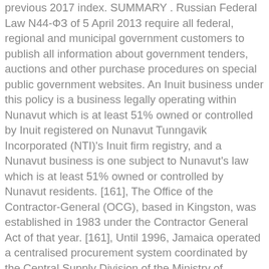previous 2017 index. SUMMARY . Russian Federal Law N44-ФЗ of 5 April 2013 require all federal, regional and municipal government customers to publish all information about government tenders, auctions and other purchase procedures on special public government websites. An Inuit business under this policy is a business legally operating within Nunavut which is at least 51% owned or controlled by Inuit registered on Nunavut Tunngavik Incorporated (NTI)'s Inuit firm registry, and a Nunavut business is one subject to Nunavut's law which is at least 51% owned or controlled by Nunavut residents. [161], The Office of the Contractor-General (OCG), based in Kingston, was established in 1983 under the Contractor General Act of that year. [161], Until 1996, Jamaica operated a centralised procurement system coordinated by the Central Supply Division of the Ministry of Finance, and procurement activity was regulated by the Financial Administration (Supplies) Regulations 1963 supplemented by directives from